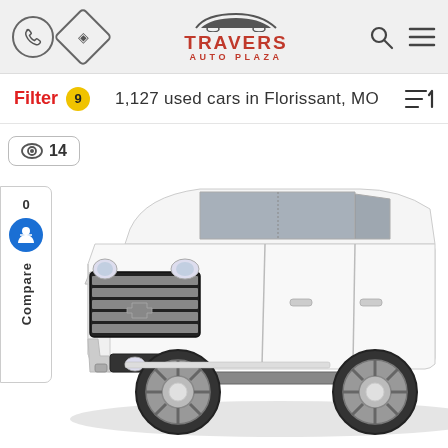Travers Auto Plaza - header navigation bar with phone icon, direction icon, logo, search icon, and menu icon
Filter 9   1,127 used cars in Florissant, MO
👁 14
0  ♿  Compare
[Figure (photo): White Chevrolet Silverado 2500HD pickup truck, front three-quarter view on white background]